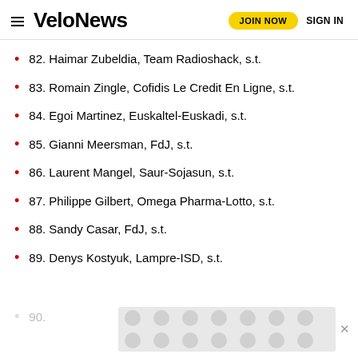VeloNews | JOIN NOW | SIGN IN
82. Haimar Zubeldia, Team Radioshack, s.t.
83. Romain Zingle, Cofidis Le Credit En Ligne, s.t.
84. Egoi Martinez, Euskaltel-Euskadi, s.t.
85. Gianni Meersman, FdJ, s.t.
86. Laurent Mangel, Saur-Sojasun, s.t.
87. Philippe Gilbert, Omega Pharma-Lotto, s.t.
88. Sandy Casar, FdJ, s.t.
89. Denys Kostyuk, Lampre-ISD, s.t.
90.